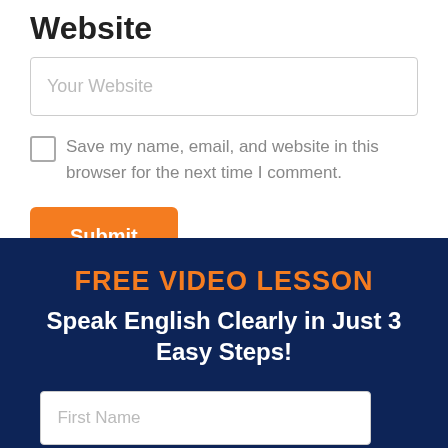Website
Your Website
Save my name, email, and website in this browser for the next time I comment.
Submit
FREE VIDEO LESSON
Speak English Clearly in Just 3 Easy Steps!
First Name